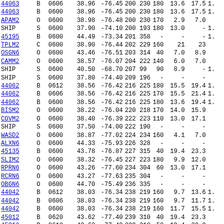| ID | T | Code | Lat | Lon | C1 | C2 | C3 | C4 | C5 |
| --- | --- | --- | --- | --- | --- | --- | --- | --- | --- |
| 44063 | B | 0606 | 38.96 | -76.45 | 200 230 | 180 | 13.6 | 17.5 | 1. |
| 44063 | B | 0600 | 38.96 | -76.45 | 200 230 | 180 | 13.6 | 17.5 | 1. |
| APAM2 | O | 0600 | 38.98 | -76.48 | 200 230 | 170 | 2.9 | 7.0 |  |
| SHIP | S | 0600 | 37.90 | -74.10 | 200 193 | 180 | 13.0 | - | 1. |
| 45195 | B | 0600 | 44.49 | -73.34 | 201 358 | - | - | - | 1. |
| TPLM2 | C | 0600 | 38.90 | -76.44 | 202 229 | 160 | 21 | 23 |  |
| OSGN6 | O | 0600 | 43.46 | -76.51 | 203 314 | 40 | 7.0 | 8.9 |  |
| CAMM2 | O | 0600 | 38.57 | -76.07 | 204 222 | 140 | 6.0 | 7.0 |  |
| SHIP | S | 0600 | 40.50 | -68.70 | 207  99 | 90 | 8.9 | - | 1. |
| SHIP | S | 0600 | 37.80 | -74.40 | 209 196 | - | - | - |  |
| 44062 | B | 0612 | 38.56 | -76.42 | 216 225 | 180 | 15.5 | 19.4 | 1. |
| 44062 | B | 0606 | 38.56 | -76.42 | 216 225 | 170 | 15.5 | 21.4 | 1. |
| 44062 | B | 0600 | 38.56 | -76.42 | 216 225 | 180 | 13.6 | 19.4 | 1. |
| BISM2 | O | 0600 | 38.22 | -76.04 | 220 218 | 170 | 14.0 | 15.9 |  |
| COVM2 | O | 0600 | 38.40 | -76.39 | 222 223 | 110 | 13.0 | 17.1 |  |
| SHIP | S | 0600 | 37.50 | -74.00 | 222 190 | - | - | - |  |
| WASD2 | O | 0600 | 38.87 | -77.02 | 224 234 | 160 | 4.1 | 7.0 |  |
| ALXN6 | O | 0600 | 44.33 | -75.93 | 226 328 | - | - | - |  |
| 45135 | B | 0600 | 43.78 | -76.87 | 227 315 | 40 | 19.4 | 23.3 |  |
| SLIM2 | O | 0600 | 38.32 | -76.45 | 227 223 | 180 | 9.9 | 12.0 |  |
| RPRN6 | O | 0600 | 43.26 | -77.60 | 234 304 | 60 | 13.0 | 17.1 |  |
| RCRN6 | O | 0600 | 43.27 | -77.63 | 235 304 | - | - | - |  |
| OBGN6 | O | 0600 | 44.70 | -75.49 | 236 335 | - | - | - |  |
| 44042 | B | 0612 | 38.03 | -76.34 | 238 219 | 160 | 9.7 | 13.6 | 1. |
| 44042 | B | 0606 | 38.03 | -76.34 | 238 219 | 160 | 9.7 | 11.7 | 1. |
| 44042 | B | 0600 | 38.03 | -76.34 | 238 219 | 160 | 11.7 | 15.5 | 1. |
| 45012 | B | 0620 | 43.62 | -77.40 | 239 310 | 40 | 19.4 | 23.3 |  |
| 45012 | B | 0610 | 43.62 | -77.40 | 239 310 | 50 | 19.4 | 23.3 |  |
| 45012 | B | 0600 | 43.62 | -77.40 | 239 310 | 40 | 17.5 | 23.3 |  |
| PPTM2 | O | 0600 | 38.13 | -76.53 | 239 222 | 190 | 12.0 | 15.0 |  |
| WAHV2 | O | 0600 | 37.61 | -75.69 | 242 210 | 200 | 8.0 | 11.1 |  |
| LWTV2 | O | 0600 | 38.00 | -76.47 | 243 220 | 180 | 7.0 | 8.9 |  |